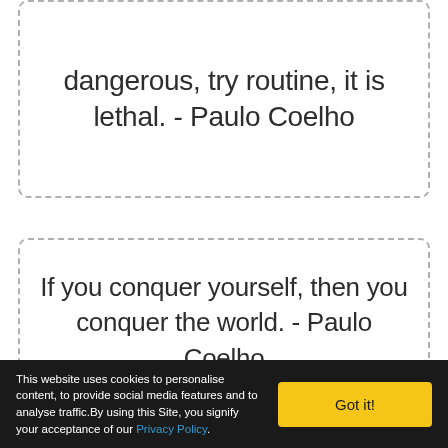dangerous, try routine, it is lethal. - Paulo Coelho
If you conquer yourself, then you conquer the world. - Paulo Coelho
This website uses cookies to personalise content, to provide social media features and to analyse traffic.By using this Site, you signify your acceptance of our Privacy Policy.